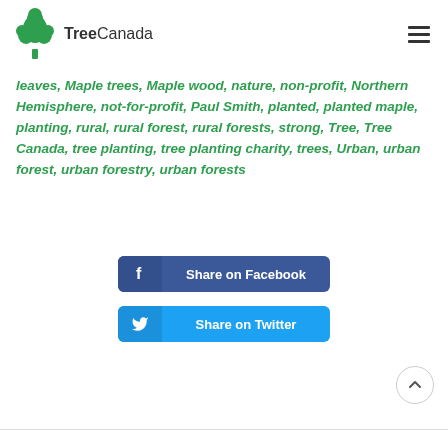TreeCanada
leaves, Maple trees, Maple wood, nature, non-profit, Northern Hemisphere, not-for-profit, Paul Smith, planted, planted maple, planting, rural, rural forest, rural forests, strong, Tree, Tree Canada, tree planting, tree planting charity, trees, Urban, urban forest, urban forestry, urban forests
[Figure (other): Share on Facebook button]
[Figure (other): Share on Twitter button]